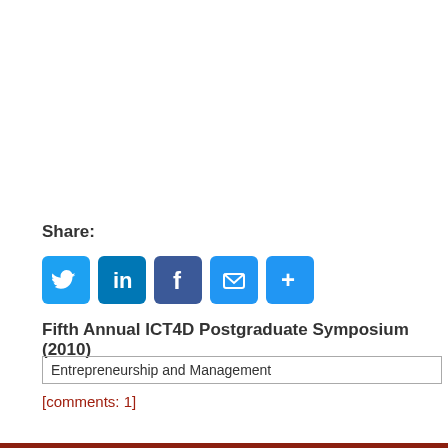Share:
[Figure (infographic): Social share buttons: Twitter, LinkedIn, Facebook, Email, More (+)]
Fifth Annual ICT4D Postgraduate Symposium (2010)
Entrepreneurship and Management
[comments: 1]